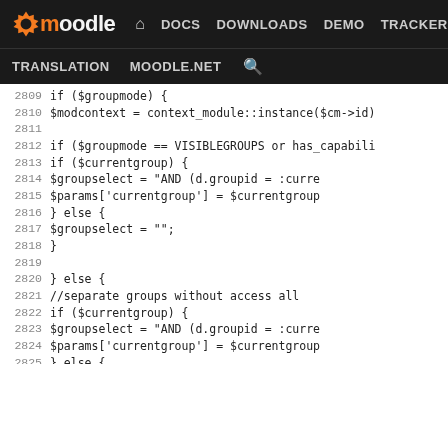Moodle DEV — DOCS DOWNLOADS DEMO TRACKER | TRANSLATION MOODLE.NET
[Figure (screenshot): Moodle developer site navigation bar with logo, nav links (DOCS, DOWNLOADS, DEMO, TRACKER, DEV highlighted), and secondary nav (TRANSLATION, MOODLE.NET, search icon)]
Code viewer showing PHP source lines 2809-2834 from a Moodle forum module
2809    if ($groupmode) {
2810        $modcontext = context_module::instance($cm->id)
2811
2812        if ($groupmode == VISIBLEGROUPS or has_capabili
2813            if ($currentgroup) {
2814                $groupselect = "AND (d.groupid = :curre
2815                $params['currentgroup'] = $currentgroup
2816            } else {
2817                $groupselect = "";
2818            }
2819
2820        } else {
2821            //separate groups without access all
2822            if ($currentgroup) {
2823                $groupselect = "AND (d.groupid = :curre
2824                $params['currentgroup'] = $currentgroup
2825            } else {
2826                $groupselect = "AND d.groupid = -1";
2827            }
2828        }
2829    } else {
2830        $groupselect = "";
2831    }
2832
2833    if (!empty($CFG->forum_enabletimedposts)) {
2834        $timedsql = "AND d.timestart <= :now1 AND (d.ti